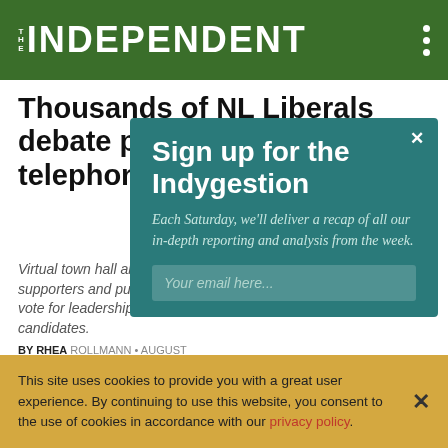THE INDEPENDENT
Thousands of NL Liberals debate policy, leadership in telephone town hall
Virtual town hall allows supporters and public to vote for leadership candidates.
BY RHEA ROLLMANN • AUGUST 11, 2021
[Figure (screenshot): Teal modal popup: 'Sign up for the Indygestion. Each Saturday, we’ll deliver a recap of all our in-depth reporting and analysis from the week.' with email input field and close button.]
This site uses cookies to provide you with a great user experience. By continuing to use this website, you consent to the use of cookies in accordance with our privacy policy.